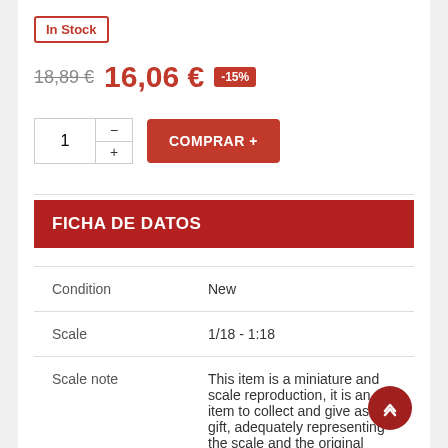In Stock
18,89 €  16,06 €  -15%
1  −  +  COMPRAR
FICHA DE DATOS
|  |  |
| --- | --- |
| Condition | New |
| Scale | 1/18 - 1:18 |
| Scale note | This item is a miniature and scale reproduction, it is an item to collect and give as a gift, adequately representing the scale and the original model |